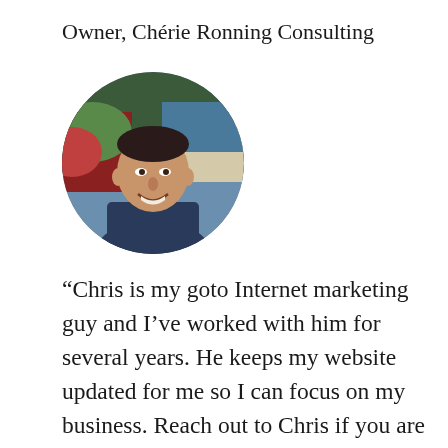Owner, Chérie Ronning Consulting
[Figure (photo): Circular profile photo of a smiling man with short dark hair, wearing a dark jacket, photographed outdoors with colorful background]
“Chris is my goto Internet marketing guy and I’ve worked with him for several years. He keeps my website updated for me so I can focus on my business. Reach out to Chris if you are looking for someone who does it